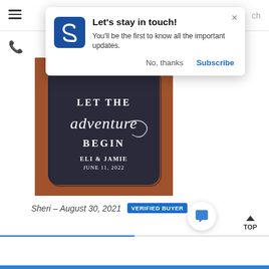[Figure (screenshot): Website popup notification: 'Let's stay in touch!' with a blue logo featuring a stylized S, body text 'You'll be the first to know all the important updates.', and buttons 'No, thanks' and 'Subscribe']
[Figure (photo): A dark navy/charcoal square coaster with rounded corners on a brown wooden surface. Text on coaster reads: LET THE adventure BEGIN / ELI & JAMIE / JUNE 11, 2022]
Sheri – August 30, 2021  VERIFIED BUYER